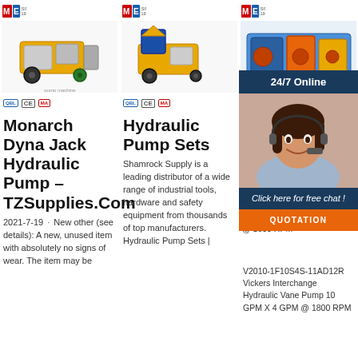[Figure (photo): Yellow construction pump/plastering machine on wheels with engine, brand logo M&E in top left corner, CE and MA certification badges below]
[Figure (photo): Yellow hydraulic pump set machine on wheels with blue attachment, brand logo M&E in top left corner, CE and MA certification badges below]
[Figure (photo): Orange/blue hydraulic pump assembly, brand logo M&E in top left corner, partially covered by chat widget]
Monarch Dyna Jack Hydraulic Pump – TZSupplies.Com
2021-7-19 · New other (see details): A new, unused item with absolutely no signs of wear. The item may be
Hydraulic Pump Sets
Shamrock Supply is a leading distributor of a wide range of industrial tools, hardware and safety equipment from thousands of top manufacturers. Hydraulic Pump Sets |
Fr... In... Su... Hy... Pu...
V2010-1F10S4S-11AD12R Vickers Interchange Hydraulic Vane Pump 10 GPM X 4 GPM @ 1800 RPM
[Figure (photo): Chat widget overlay: 24/7 Online bar, customer service representative with headset, Click here for free chat text, QUOTATION button]